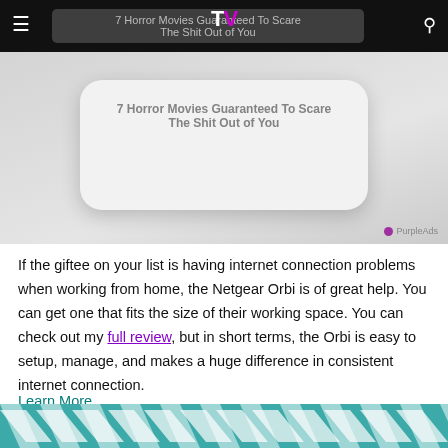TV [logo] navigation bar with hamburger menu and search icon
[Figure (screenshot): Advertisement banner showing a white rounded device (Netgear Orbi or similar) with text '7 Horror Movies Guaranteed To Scare The Shit Out of You' overlaid, with PurpleAds attribution in lower right]
If the giftee on your list is having internet connection problems when working from home, the Netgear Orbi is of great help. You can get one that fits the size of their working space. You can check out my full review, but in short terms, the Orbi is easy to setup, manage, and makes a huge difference in consistent internet connection.
Learn More
[Figure (illustration): Bottom decorative banner with teal and white diagonal stripe/chevron pattern]